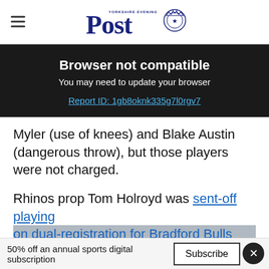Yorkshire Evening Post
[Figure (infographic): Browser not compatible overlay with black background. Title: 'Browser not compatible'. Subtitle: 'You may need to update your browser'. Link: 'Report ID: 1gb8oknk335g7l0rgv7']
Myler (use of knees) and Blake Austin (dangerous throw), but those players were not charged.
Rhinos prop Tom Holroyd was sent-off playing on dual-registration for Bradford Bulls against Newcastle Thunder last Saturday and that
50% off an annual sports digital subscription